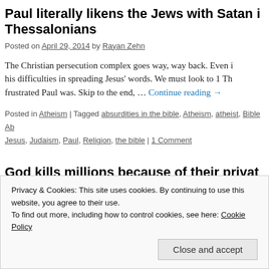Paul literally likens the Jews with Satan in Thessalonians
Posted on April 29, 2014 by Rayan Zehn
The Christian persecution complex goes way, way back. Even in his difficulties in spreading Jesus' words. We must look to 1 The frustrated Paul was. Skip to the end, … Continue reading →
Posted in Atheism | Tagged absurdities in the bible, Atheism, atheist, Bible Ab Jesus, Judaism, Paul, Religion, the bible | 1 Comment
God kills millions because of their private angels and humans get it on)
Privacy & Cookies: This site uses cookies. By continuing to use this website, you agree to their use.
To find out more, including how to control cookies, see here: Cookie Policy
Close and accept